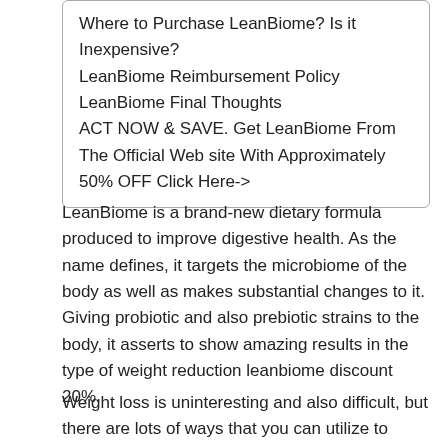Where to Purchase LeanBiome? Is it Inexpensive?
LeanBiome Reimbursement Policy
LeanBiome Final Thoughts
ACT NOW & SAVE. Get LeanBiome From The Official Web site With Approximately 50% OFF Click Here->
LeanBiome is a brand-new dietary formula produced to improve digestive health. As the name defines, it targets the microbiome of the body as well as makes substantial changes to it. Giving probiotic and also prebiotic strains to the body, it asserts to show amazing results in the type of weight reduction leanbiome discount 20%.
Weight loss is uninteresting and also difficult, but there are lots of ways that you can utilize to make